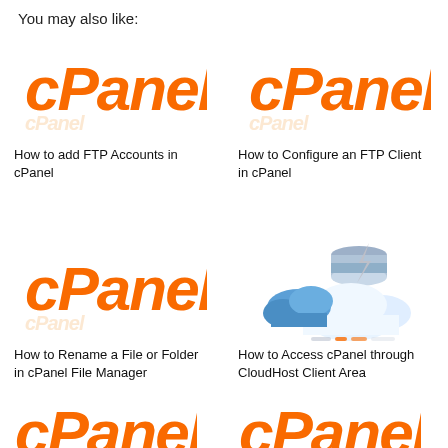You may also like:
[Figure (logo): cPanel logo (orange italic bold text)]
How to add FTP Accounts in cPanel
[Figure (logo): cPanel logo (orange italic bold text)]
How to Configure an FTP Client in cPanel
[Figure (logo): cPanel logo (orange italic bold text)]
How to Rename a File or Folder in cPanel File Manager
[Figure (illustration): Cloud storage illustration with blue clouds and server/database icon]
How to Access cPanel through CloudHost Client Area
[Figure (logo): cPanel logo partial (orange italic bold text, cropped at bottom)]
[Figure (logo): cPanel logo partial (orange italic bold text, cropped at bottom)]